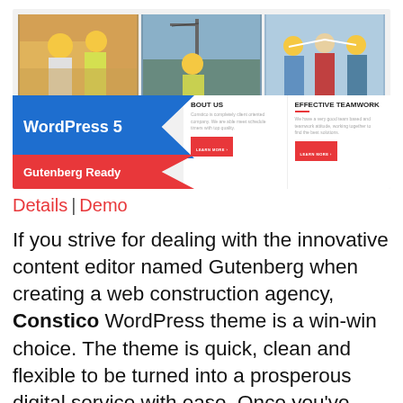[Figure (screenshot): Screenshot of a WordPress construction theme website showing three photos of construction workers at top, a blue WordPress 5 banner with red Gutenberg Ready label on the left, and two content sections labeled 'About Us' and 'Effective Teamwork' with red Learn More buttons.]
Details | Demo
If you strive for dealing with the innovative content editor named Gutenberg when creating a web construction agency, Constico WordPress theme is a win-win choice. The theme is quick, clean and flexible to be turned into a prosperous digital service with ease. Once you've installed it with a click, you can proceed to the endless process of customization